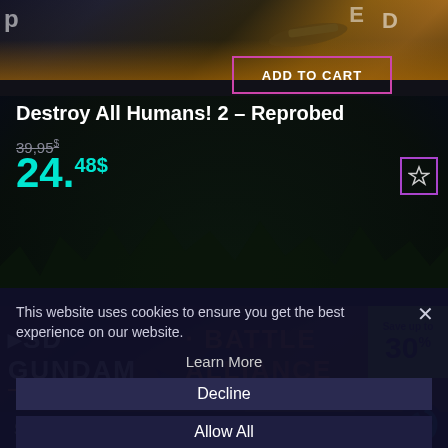[Figure (screenshot): Top portion of game cover art for Destroy All Humans! 2 - Reprobed showing partial letters and colorful sky/action scene]
Destroy All Humans! 2 – Reprobed
39,95$
24.48$
ADD TO CART
[Figure (screenshot): SD Gundam Battle Alliance game banner with robot characters and orange/white title text on dark fantasy background. Save up to 30% badge in top right.]
This website uses cookies to ensure you get the best experience on our website.
Learn More
Decline
Allow All
SD Gundam Battle Alliance